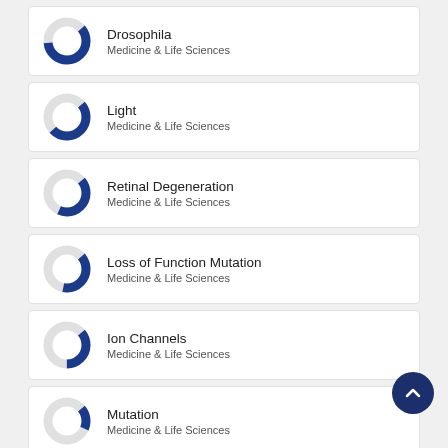Drosophila — Medicine & Life Sciences
Light — Medicine & Life Sciences
Retinal Degeneration — Medicine & Life Sciences
Loss of Function Mutation — Medicine & Life Sciences
Ion Channels — Medicine & Life Sciences
Mutation — Medicine & Life Sciences
Genes — Medicine & Life Sciences